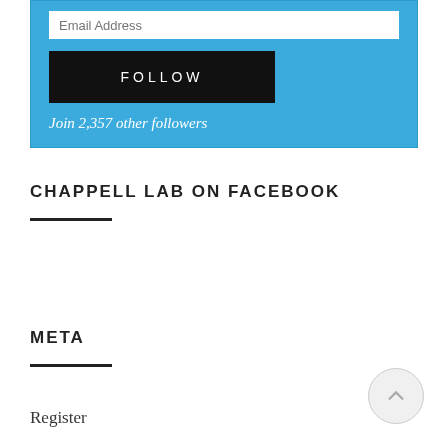[Figure (screenshot): Blue email follow widget with an email address input field, a black FOLLOW button with letter-spacing, and text 'Join 2,357 other followers']
CHAPPELL LAB ON FACEBOOK
META
Register